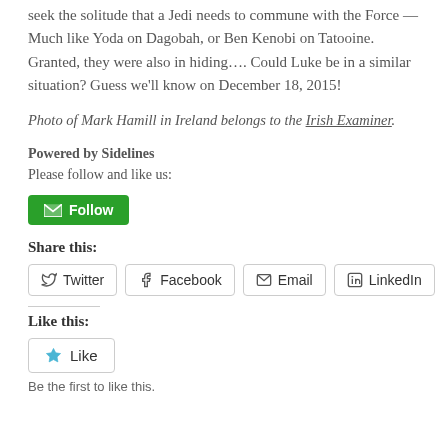seek the solitude that a Jedi needs to commune with the Force — Much like Yoda on Dagobah, or Ben Kenobi on Tatooine. Granted, they were also in hiding…. Could Luke be in a similar situation? Guess we'll know on December 18, 2015!
Photo of Mark Hamill in Ireland belongs to the Irish Examiner.
Powered by Sidelines
Please follow and like us:
[Figure (other): Green Follow button with envelope icon]
Share this:
[Figure (other): Social share buttons: Twitter, Facebook, Email, LinkedIn]
Like this:
[Figure (other): Like button with star icon]
Be the first to like this.